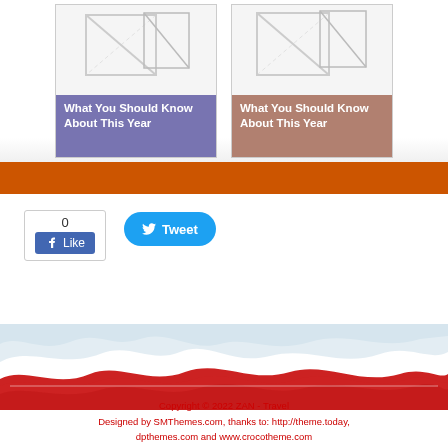[Figure (illustration): Two blog post cards with placeholder image icons, the first with a purple/blue caption background, the second with a brown/red caption background, both titled 'What You Should Know About This Year']
What You Should Know About This Year
What You Should Know About This Year
[Figure (screenshot): Facebook Like button widget showing count of 0 and a Tweet button]
[Figure (illustration): Decorative wave footer divider with light blue and red wave shapes]
Copyright © 2022 ZAN - Travel
Designed by SMThemes.com, thanks to: http://theme.today, dpthemes.com and www.crocotheme.com